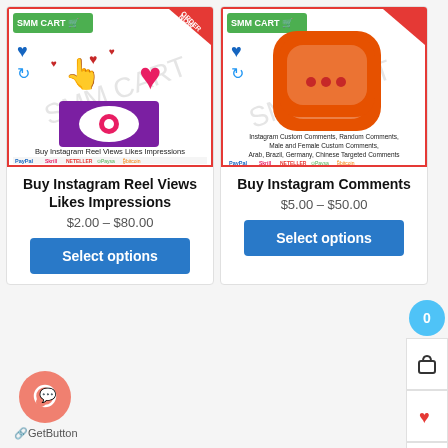[Figure (screenshot): Product card image for Buy Instagram Reel Views Likes Impressions with SMM CART logo, heart/eye icons, and payment method logos]
Buy Instagram Reel Views Likes Impressions
$2.00 – $80.00
Select options
[Figure (screenshot): Product card image for Buy Instagram Comments with SMM CART logo, orange chat bubble icon, and payment method logos]
Buy Instagram Comments
$5.00 – $50.00
Select options
[Figure (logo): GetButton chat widget button (orange circle with chat icon) and GetButton label]